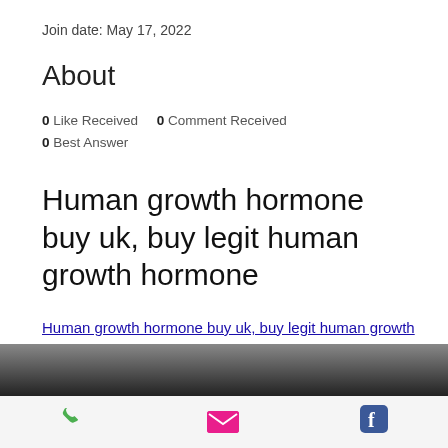Join date: May 17, 2022
About
0 Like Received   0 Comment Received
0 Best Answer
Human growth hormone buy uk, buy legit human growth hormone
Human growth hormone buy uk, buy legit human growth hormone - Legal steroids for sale
[Figure (photo): Dark blurred image strip at bottom of content area]
[Figure (infographic): Mobile app bottom navigation bar with phone, email, and Facebook icons]